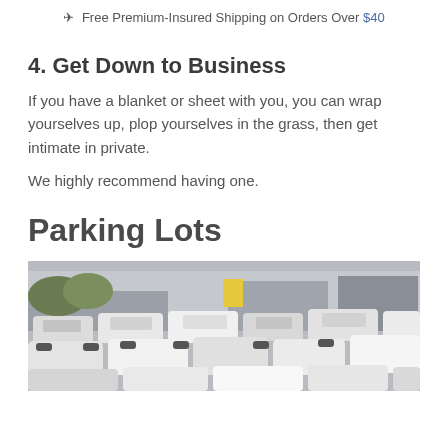✈ Free Premium-Insured Shipping on Orders Over $40
4. Get Down to Business
If you have a blanket or sheet with you, you can wrap yourselves up, plop yourselves in the grass, then get intimate in private.
We highly recommend having one.
Parking Lots
[Figure (photo): A crowded parking lot filled with numerous cars packed closely together, photographed from a slightly elevated angle in daylight.]